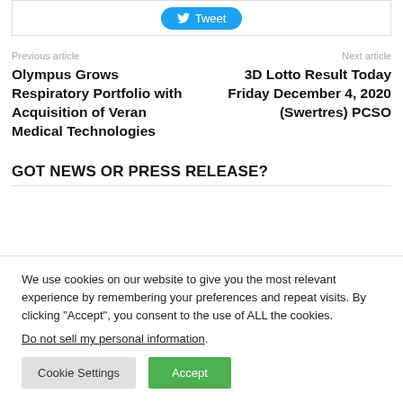[Figure (other): Tweet button inside a bordered box at the top of the page]
Previous article
Olympus Grows Respiratory Portfolio with Acquisition of Veran Medical Technologies
Next article
3D Lotto Result Today Friday December 4, 2020 (Swertres) PCSO
GOT NEWS OR PRESS RELEASE?
We use cookies on our website to give you the most relevant experience by remembering your preferences and repeat visits. By clicking “Accept”, you consent to the use of ALL the cookies.
Do not sell my personal information.
Cookie Settings
Accept